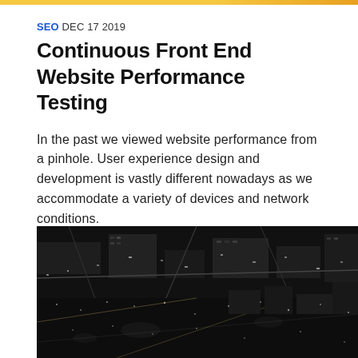SEO DEC 17 2019
Continuous Front End Website Performance Testing
In the past we viewed website performance from a pinhole. User experience design and development is vastly different nowadays as we accommodate a variety of devices and network conditions.
Read more >
[Figure (photo): Aerial black and white photograph of a city at night, showing streets, buildings and traffic from above]